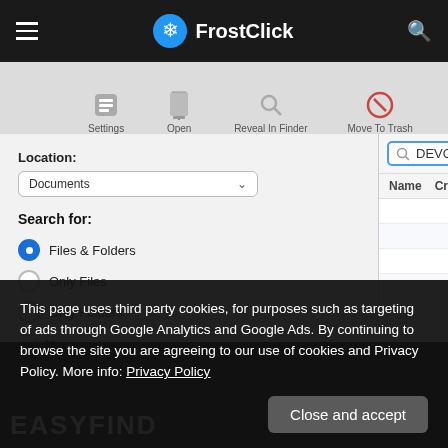FrostClick
[Figure (screenshot): macOS EasyFind application window showing search interface with Location set to Documents, search query 'DEVONthink' entered, Search for options including Files & Folders (selected), Only Files, Only Folders, Name (unchecked), Contents (checked), Tags (unchecked). Results panel shows Name and Created columns.]
This page uses third party cookies, for purposes such as targeting of ads through Google Analytics and Google Ads. By continuing to browse the site you are agreeing to our use of cookies and Privacy Policy. More info: Privacy Policy
Close and accept
EASYFIND